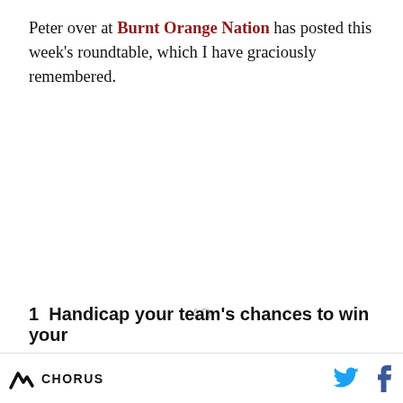Peter over at Burnt Orange Nation has posted this week's roundtable, which I have graciously remembered.
[Figure (other): Advertisement placeholder area with 'AD' text in light gray]
1  Handicap your team's chances to win your
CHORUS  [Twitter icon] [Facebook icon]